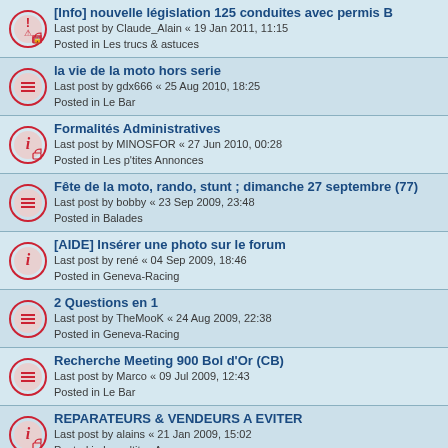[Info] nouvelle législation 125 conduites avec permis B
Last post by Claude_Alain « 19 Jan 2011, 11:15
Posted in Les trucs & astuces
la vie de la moto hors serie
Last post by gdx666 « 25 Aug 2010, 18:25
Posted in Le Bar
Formalités Administratives
Last post by MINOSFOR « 27 Jun 2010, 00:28
Posted in Les p'tites Annonces
Fête de la moto, rando, stunt ; dimanche 27 septembre (77)
Last post by bobby « 23 Sep 2009, 23:48
Posted in Balades
[AIDE] Insérer une photo sur le forum
Last post by rené « 04 Sep 2009, 18:46
Posted in Geneva-Racing
2 Questions en 1
Last post by TheMooK « 24 Aug 2009, 22:38
Posted in Geneva-Racing
Recherche Meeting 900 Bol d'Or (CB)
Last post by Marco « 09 Jul 2009, 12:43
Posted in Le Bar
REPARATEURS & VENDEURS A EVITER
Last post by alains « 21 Jan 2009, 15:02
Posted in Les p'tites Annonces
BONS VENDEURS & REPARATEURS
Last post by alains « 21 Jan 2009, 15:00
Posted in Les p'tites Annonces
NSR de tof45
Last post by tof45 « 03 Nov 2008, 19:14